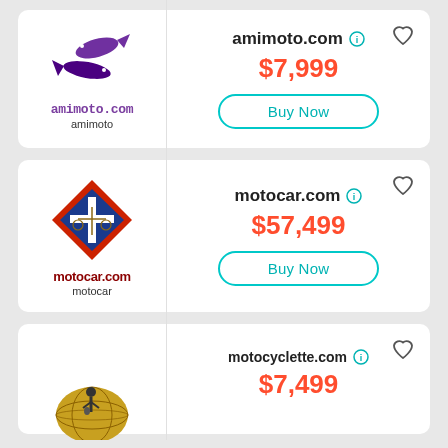[Figure (logo): amimoto.com logo with purple fish and text]
amimoto.com
$7,999
Buy Now
[Figure (logo): motocar.com logo with diamond shape, cross and scales]
motocar.com
$57,499
Buy Now
[Figure (logo): motocyclette.com logo with motorcycle rider on globe]
motocyclette.com
$7,499